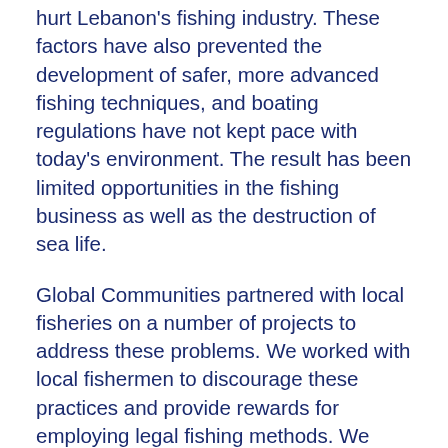hurt Lebanon's fishing industry. These factors have also prevented the development of safer, more advanced fishing techniques, and boating regulations have not kept pace with today's environment. The result has been limited opportunities in the fishing business as well as the destruction of sea life.
Global Communities partnered with local fisheries on a number of projects to address these problems. We worked with local fishermen to discourage these practices and provide rewards for employing legal fishing methods. We helped fishermen get the right equipment, boost their sales and maintain safer, more efficient systems.
Ali Kawtharani, who has fished the waters of Beirut since his youth, also wanted to provide fishermen with a way to lift their boats out of the water smoothly and safely. This process, which is essential to clean the boats properly (especially the bottom, thus increasing their speed) should be done twice yearly to keep boats in good shape and prevent them from being damaged. The fishing season is year-round, and cleaning a boat